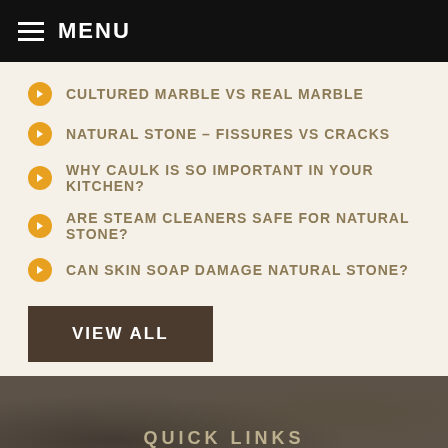MENU
CULTURED MARBLE VS REAL MARBLE
NATURAL STONE – FISSURES VS CRACKS
WHY CAULK IS SO IMPORTANT IN YOUR KITCHEN?
ARE STEAM CLEANERS SAFE FOR NATURAL STONE?
CAN SKIN SOAP DAMAGE NATURAL STONE?
VIEW ALL
QUICK LINKS
Contact